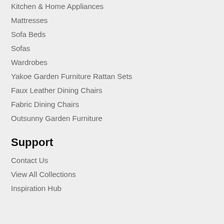Kitchen & Home Appliances
Mattresses
Sofa Beds
Sofas
Wardrobes
Yakoe Garden Furniture Rattan Sets
Faux Leather Dining Chairs
Fabric Dining Chairs
Outsunny Garden Furniture
Support
Contact Us
View All Collections
Inspiration Hub